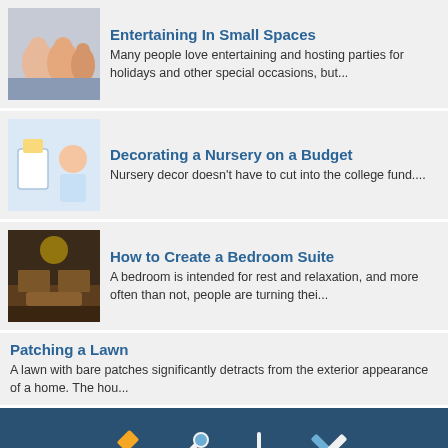Entertaining In Small Spaces — Many people love entertaining and hosting parties for holidays and other special occasions, but...
Decorating a Nursery on a Budget — Nursery decor doesn't have to cut into the college fund....
How to Create a Bedroom Suite — A bedroom is intended for rest and relaxation, and more often than not, people are turning thei...
Patching a Lawn — A lawn with bare patches significantly detracts from the exterior appearance of a home. The hou...
[Figure (infographic): DIY tools icons: hammer (yellow/white), screwdriver (white), shovel/trowel (white/yellow), pencil and ruler crossed (white/blue)]
Sign up to get the latest DIY Projects and Advice!
Email Address